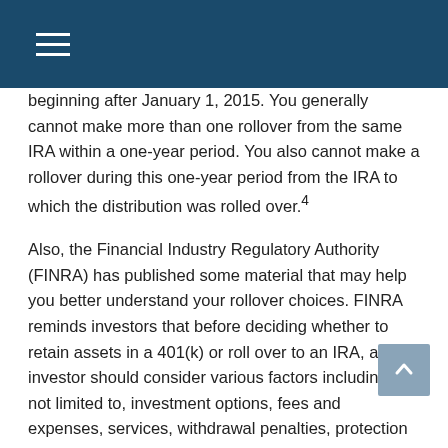beginning after January 1, 2015. You generally cannot make more than one rollover from the same IRA within a one-year period. You also cannot make a rollover during this one-year period from the IRA to which the distribution was rolled over.4
Also, the Financial Industry Regulatory Authority (FINRA) has published some material that may help you better understand your rollover choices. FINRA reminds investors that before deciding whether to retain assets in a 401(k) or roll over to an IRA, an investor should consider various factors including, but not limited to, investment options, fees and expenses, services, withdrawal penalties, protection from creditors and legal judgments, required minimum distributions and possession of employer stock.5
An IRA rollover may make sense whether you're leaving one